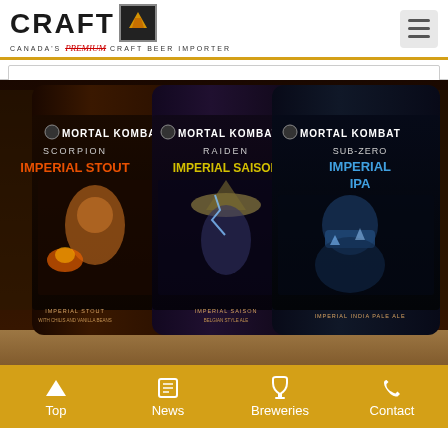CRAFT - Canada's Premium Craft Beer Importer
[Figure (photo): Three Mortal Kombat themed beer bottles: Scorpion Imperial Stout, Raiden Imperial Saison, and Sub-Zero Imperial IPA, displayed on a shelf]
Top | News | Breweries | Contact